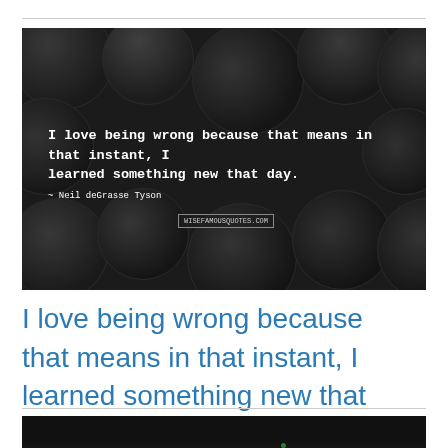[Figure (photo): Dark background image of scattered coins with a quote overlaid in white typewriter-style text: 'I love being wrong because that means in that instant, I learned something new that day.' attributed to Neil deGrasse Tyson, with wisefamousquotes.com watermark]
I love being wrong because that means in that instant, I learned something new that day.
[Figure (photo): Dark/black image, bottom of page, partially visible]